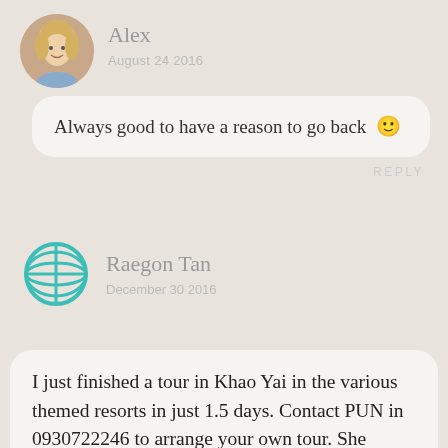[Figure (photo): Circular avatar photo of a blonde woman named Alex]
Alex
August 24 2016
Always good to have a reason to go back 🙂
REPLY
[Figure (illustration): Teal/turquoise globe/world icon]
Raegon Tan
December 30 2016
I just finished a tour in Khao Yai in the various themed resorts in just 1.5 days. Contact PUN in 0930722246 to arrange your own tour. She drives a Toyota Vios and her daily charge is dirt cheap! (And she speaks english too! *something relatively rare in Thailand*) Disclaimer: I am not